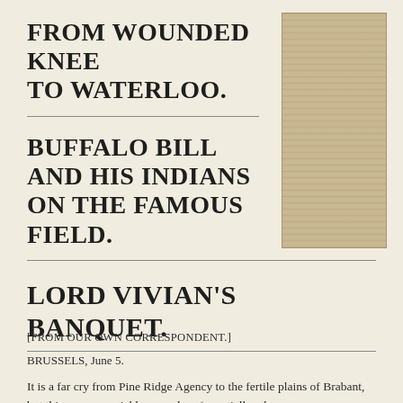FROM WOUNDED KNEE TO WATERLOO.
[Figure (photo): A tall narrow clipping of a newspaper article, printed on aged yellowed/tan newsprint with dense columns of small text, photographed and placed in the upper right corner of the page.]
BUFFALO BILL AND HIS INDIANS ON THE FAMOUS FIELD.
LORD VIVIAN'S BANQUET.
[FROM OUR OWN CORRESPONDENT.]
BRUSSELS, June 5.
It is a far cry from Pine Ridge Agency to the fertile plains of Brabant, but things move quickly nowadays (especially when